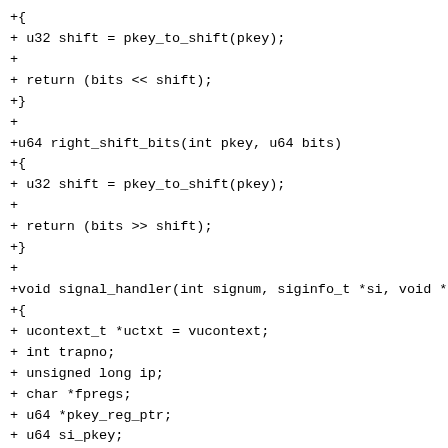+{
+ u32 shift = pkey_to_shift(pkey);
+
+ return (bits << shift);
+}
+
+u64 right_shift_bits(int pkey, u64 bits)
+{
+ u32 shift = pkey_to_shift(pkey);
+
+ return (bits >> shift);
+}
+
+void signal_handler(int signum, siginfo_t *si, void *vucontext)
+{
+ ucontext_t *uctxt = vucontext;
+ int trapno;
+ unsigned long ip;
+ char *fpregs;
+ u64 *pkey_reg_ptr;
+ u64 si_pkey;
+ u32 *si_pkey_ptr;
+
+ dprint_in_signal = 1;
+